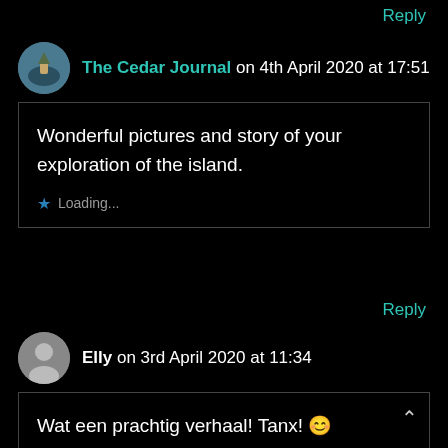Reply
The Cedar Journal on 4th April 2020 at 17:51
Wonderful pictures and story of your exploration of the island.
Loading...
Reply
Elly on 3rd April 2020 at 11:34
Wat een prachtig verhaal! Tanx! 😊
Loading...